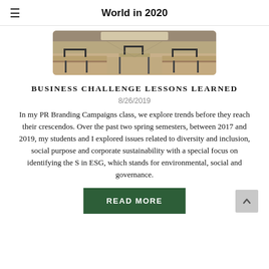World in 2020
[Figure (photo): Classroom with empty desks and chairs viewed from the front, wooden desk surfaces visible]
BUSINESS CHALLENGE LESSONS LEARNED
8/26/2019
In my PR Branding Campaigns class, we explore trends before they reach their crescendos. Over the past two spring semesters, between 2017 and 2019, my students and I explored issues related to diversity and inclusion, social purpose and corporate sustainability with a special focus on identifying the S in ESG, which stands for environmental, social and governance.
READ MORE